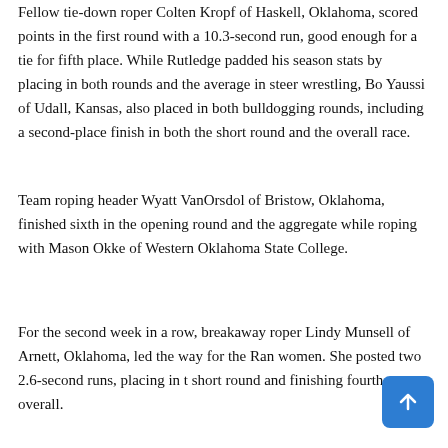Fellow tie-down roper Colten Kropf of Haskell, Oklahoma, scored points in the first round with a 10.3-second run, good enough for a tie for fifth place. While Rutledge padded his season stats by placing in both rounds and the average in steer wrestling, Bo Yaussi of Udall, Kansas, also placed in both bulldogging rounds, including a second-place finish in both the short round and the overall race.
Team roping header Wyatt VanOrsdol of Bristow, Oklahoma, finished sixth in the opening round and the aggregate while roping with Mason Okke of Western Oklahoma State College.
For the second week in a row, breakaway roper Lindy Munsell of Arnett, Oklahoma, led the way for the Ran women. She posted two 2.6-second runs, placing in the short round and finishing fourth overall.